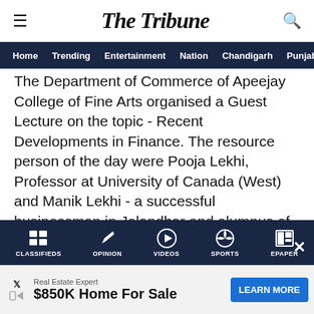The Tribune
Home | Trending | Entertainment | Nation | Chandigarh | Punjab
The Department of Commerce of Apeejay College of Fine Arts organised a Guest Lecture on the topic - Recent Developments in Finance. The resource person of the day were Pooja Lekhi, Professor at University of Canada (West) and Manik Lekhi - a successful businessman in Jalandhar and alumnus of the college. Addressing the students they discussed about the current finance trends where they extensively talked about cryptocurrency and digital currencies and also talked of open banking, shopping websites, e - commerce, variable payment options and [me easier] [ptions]
CLASSIFIEDS | OPINION | VIDEOS | SPORTS | EPAPER
Real Estate Expert $850K Home For Sale LEARN MORE